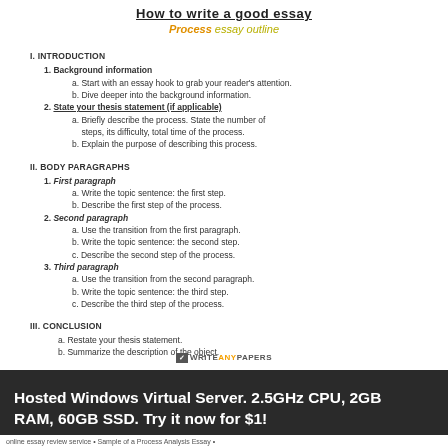How to write a good essay
Process essay outline
I. INTRODUCTION
1. Background information
a. Start with an essay hook to grab your reader's attention.
b. Dive deeper into the background information.
2. State your thesis statement (if applicable)
a. Briefly describe the process. State the number of steps, its difficulty, total time of the process.
b. Explain the purpose of describing this process.
II. BODY PARAGRAPHS
1. First paragraph
a. Write the topic sentence: the first step.
b. Describe the first step of the process.
2. Second paragraph
a. Use the transition from the first paragraph.
b. Write the topic sentence: the second step.
c. Describe the second step of the process.
3. Third paragraph
a. Use the transition from the second paragraph.
b. Write the topic sentence: the third step.
c. Describe the third step of the process.
III. CONCLUSION
a. Restate your thesis statement.
b. Summarize the description of the object.
WRITEANYPAPERS
Hosted Windows Virtual Server. 2.5GHz CPU, 2GB RAM, 60GB SSD. Try it now for $1!
online essay review service • Sample of a Process Analysis Essay